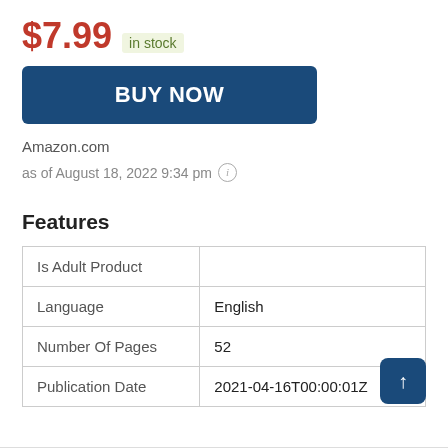$7.99 in stock
BUY NOW
Amazon.com
as of August 18, 2022 9:34 pm (i)
Features
|  |  |
| --- | --- |
| Is Adult Product |  |
| Language | English |
| Number Of Pages | 52 |
| Publication Date | 2021-04-16T00:00:01Z |